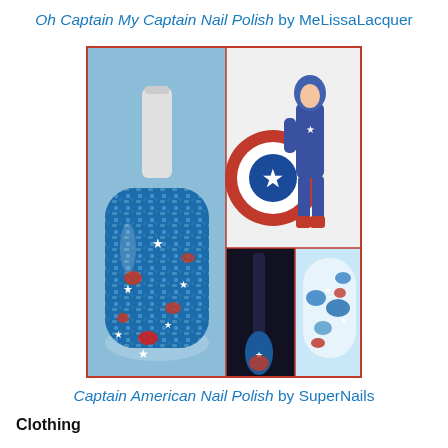Oh Captain My Captain Nail Polish by MeLissaLacquer
[Figure (photo): Collage of nail polish product photos: large jar of blue glitter nail polish with red and white star confetti glitter on left; Captain America cartoon illustration with shield on upper right; nail brush with polish on lower center-right; painted nail closeup on lower right. All inside a red border.]
Captain American Nail Polish by SuperNails
Clothing